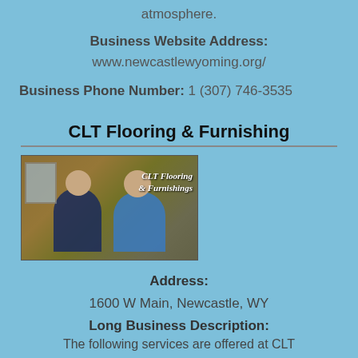atmosphere.
Business Website Address:
www.newcastlewyoming.org/
Business Phone Number: 1 (307) 746-3535
CLT Flooring & Furnishing
[Figure (photo): Photo of two people sitting on a couch with text 'CLT Flooring & Furnishings' overlaid in white italic script]
Address:
1600 W Main, Newcastle, WY
Long Business Description:
The following services are offered at CLT